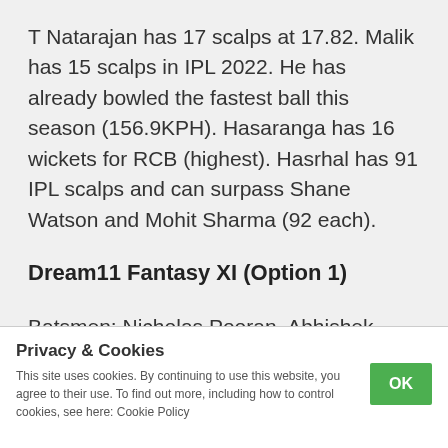T Natarajan has 17 scalps at 17.82. Malik has 15 scalps in IPL 2022. He has already bowled the fastest ball this season (156.9KPH). Hasaranga has 16 wickets for RCB (highest). Hasrhal has 91 IPL scalps and can surpass Shane Watson and Mohit Sharma (92 each).
Dream11 Fantasy XI (Option 1)
Batsmen: Nicholas Pooran, Abhishek Sharma, Kane Williamson, D Karthik, Virat Kohli, Faf du Plessis
Privacy & Cookies
This site uses cookies. By continuing to use this website, you agree to their use. To find out more, including how to control cookies, see here: Cookie Policy